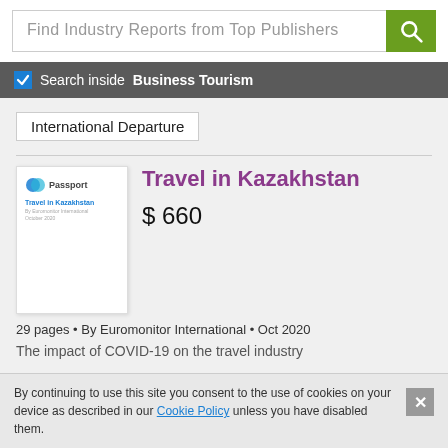Find Industry Reports from Top Publishers
Search inside Business Tourism
International Departure
[Figure (illustration): Thumbnail of report cover for Travel in Kazakhstan by Passport/Euromonitor International]
Travel in Kazakhstan
$ 660
29 pages • By Euromonitor International • Oct 2020
The impact of COVID-19 on the travel industry
By continuing to use this site you consent to the use of cookies on your device as described in our Cookie Policy unless you have disabled them.